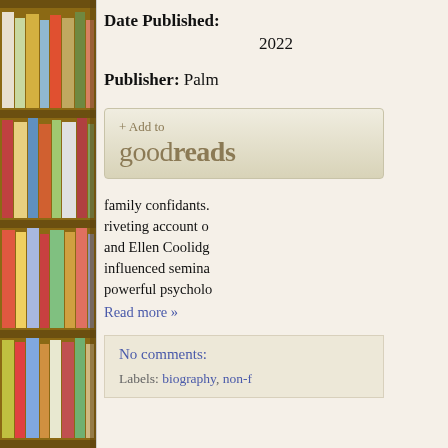[Figure (photo): Photo of a bookshelf filled with colorful books, viewed from the side]
Date Published: 2022
Publisher: Palm
[Figure (other): + Add to goodreads button]
family confidants. riveting account of and Ellen Coolidge influenced semina powerful psycholo
Read more »
No comments:
Labels: biography, non-f